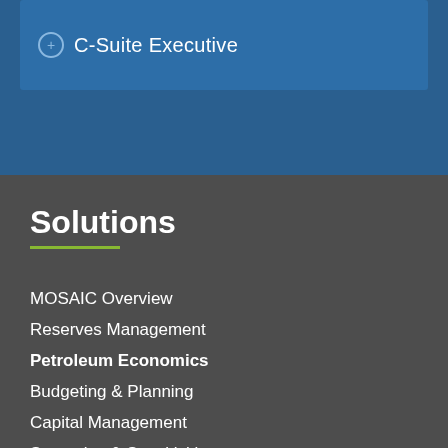C-Suite Executive
Solutions
MOSAIC Overview
Reserves Management
Petroleum Economics
Budgeting & Planning
Capital Management
Scenarios & Sensitivities